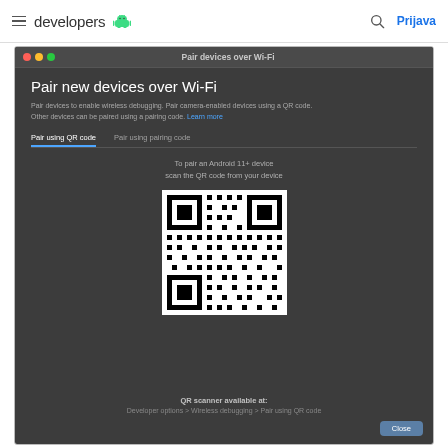developers  Prijava
[Figure (screenshot): macOS dialog window titled 'Pair devices over Wi-Fi' showing 'Pair new devices over Wi-Fi' with instructions to pair camera-enabled devices using a QR code. Two tabs: 'Pair using QR code' (active) and 'Pair using pairing code'. A QR code is displayed in the center. Footer reads: 'QR scanner available at: Developer options > Wireless debugging > Pair using QR code'. A Close button is in the bottom right.]